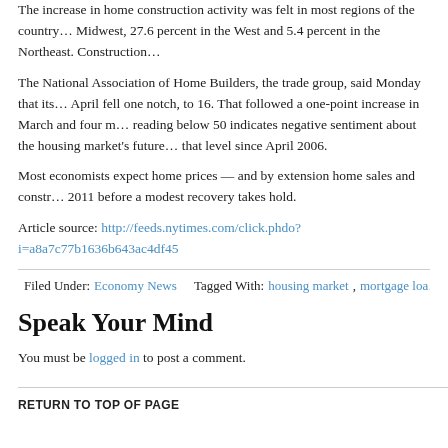The increase in home construction activity was felt in most regions of the country... Midwest, 27.6 percent in the West and 5.4 percent in the Northeast. Construction...
The National Association of Home Builders, the trade group, said Monday that its... April fell one notch, to 16. That followed a one-point increase in March and four m... reading below 50 indicates negative sentiment about the housing market's future... that level since April 2006.
Most economists expect home prices — and by extension home sales and constr... 2011 before a modest recovery takes hold.
Article source: http://feeds.nytimes.com/click.phdo?i=a8a7c77b1636b643ac4df45...
Filed Under: Economy News  Tagged With: housing market, mortgage loa...
Speak Your Mind
You must be logged in to post a comment.
RETURN TO TOP OF PAGE